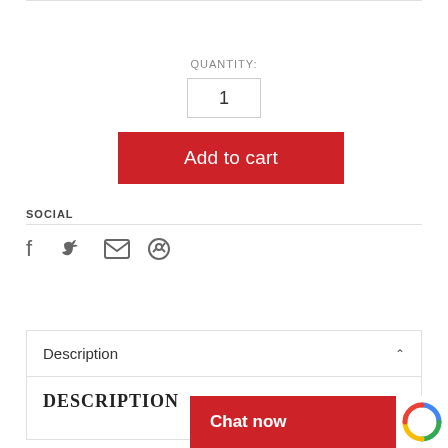QUANTITY:
1
Add to cart
SOCIAL
[Figure (other): Social share icons: Facebook, Twitter, Email, Pinterest]
Description
DESCRIPTION
Chat now